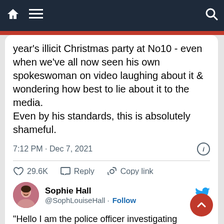[Figure (screenshot): Dark blue navigation bar with home icon, hamburger menu icon on left, and search icon on right, with a red accent bar below]
year's illicit Christmas party at No10 - even when we've all now seen his own spokeswoman on video laughing about it & wondering how best to lie about it to the media.
Even by his standards, this is absolutely shameful.
7:12 PM · Dec 7, 2021
♡ 29.6K   Reply   Copy link
Read 1K replies
Sophie Hall
@SophLouiseHall · Follow
"Hello I am the police officer investigating